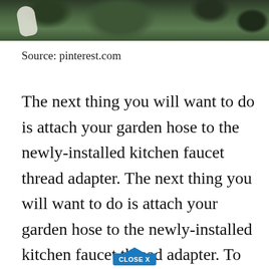[Figure (photo): Partial photo of a hand holding a white garden hose fitting against a green leafy background (shrubs/foliage). Only the bottom strip of the image is visible.]
Source: pinterest.com
The next thing you will want to do is attach your garden hose to the newly-installed kitchen faucet thread adapter. The next thing you will want to do is attach your garden hose to the newly-installed kitchen faucet thread adapter. To do this simply screw one end of your hose into the adapter while it is on your sink. Again be careful not